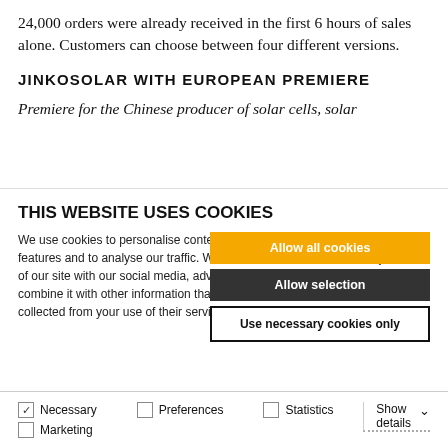24,000 orders were already received in the first 6 hours of sales alone. Customers can choose between four different versions.
JINKOSOLAR WITH EUROPEAN PREMIERE
Premiere for the Chinese producer of solar cells, solar
THIS WEBSITE USES COOKIES
We use cookies to personalise content and ads, to provide social media features and to analyse our traffic. We also share information about your use of our site with our social media, advertising and analytics partners who may combine it with other information that you've provided to them or that they've collected from your use of their services.